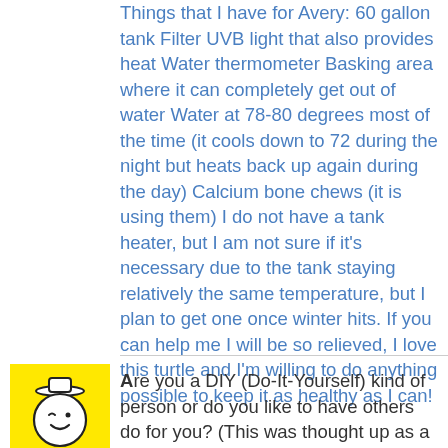Things that I have for Avery: 60 gallon tank Filter UVB light that also provides heat Water thermometer Basking area where it can completely get out of water Water at 78-80 degrees most of the time (it cools down to 72 during the night but heats back up again during the day) Calcium bone chews (it is using them) I do not have a tank heater, but I am not sure if it's necessary due to the tank staying relatively the same temperature, but I plan to get one once winter hits. If you can help me I will be so relieved, I love this turtle and I'm willing to do anything possible to keep it as healthy as I can!
[Figure (illustration): Yellow square avatar with a winking smiley face drawing in black ink]
Are you a DIY (Do-It-Yourself) kind of person or do you like to have others do for you? (This was thought up as a Home &